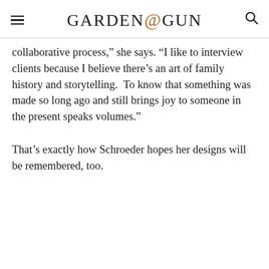GARDEN&GUN
collaborative process,” she says. “I like to interview clients because I believe there’s an art of family history and storytelling. To know that something was made so long ago and still brings joy to someone in the present speaks volumes.”
That’s exactly how Schroeder hopes her designs will be remembered, too.